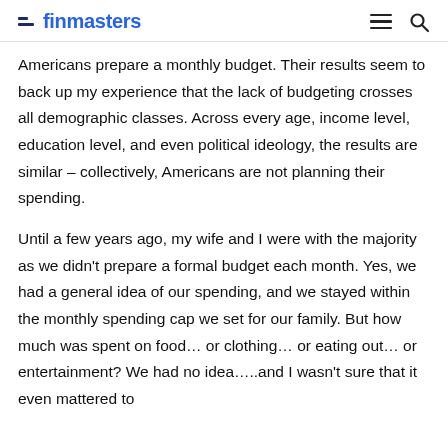finmasters
Americans prepare a monthly budget. Their results seem to back up my experience that the lack of budgeting crosses all demographic classes. Across every age, income level, education level, and even political ideology, the results are similar – collectively, Americans are not planning their spending.
Until a few years ago, my wife and I were with the majority as we didn't prepare a formal budget each month. Yes, we had a general idea of our spending, and we stayed within the monthly spending cap we set for our family. But how much was spent on food… or clothing… or eating out… or entertainment? We had no idea…..and I wasn't sure that it even mattered to